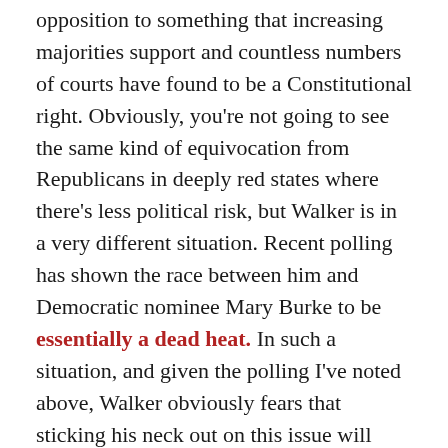opposition to something that increasing majorities support and countless numbers of courts have found to be a Constitutional right. Obviously, you're not going to see the same kind of equivocation from Republicans in deeply red states where there's less political risk, but Walker is in a very different situation. Recent polling has shown the race between him and Democratic nominee Mary Burke to be essentially a dead heat. In such a situation, and given the polling I've noted above, Walker obviously fears that sticking his neck out on this issue will hurt him in the polls. At the same time, though, he can't come out and say he supports marriage equality without risking upsetting the Republican base. So, he equivocates. It's not exactly a profile in courage, but it certainly seems to be a sign that the political momentum on this issue has shifted to such a degree that even Republicans...